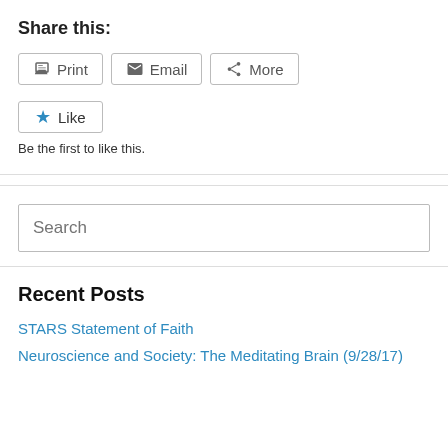Share this:
[Figure (screenshot): Social sharing buttons: Print, Email, More]
[Figure (screenshot): Like button with blue star icon]
Be the first to like this.
Search
Recent Posts
STARS Statement of Faith
Neuroscience and Society: The Meditating Brain (9/28/17)